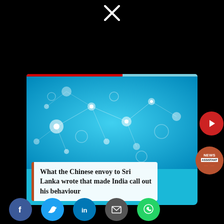[Figure (logo): X (Twitter) logo icon in white on black background at top center]
[Figure (screenshot): Video card with blue network/tech background image, red progress bar at top, headline overlay, play button, and News Assistant badge]
What the Chinese envoy to Sri Lanka wrote that made India call out his behaviour
[Figure (infographic): Social sharing icons: Facebook (blue), Twitter (light blue), LinkedIn (dark blue), Email (grey), WhatsApp (green)]